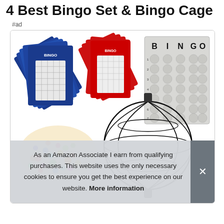4 Best Bingo Set & Bingo Cage
#ad
[Figure (photo): A bingo set product photo showing blue bingo cards fanned out, red bingo cards fanned out, a grey bingo card with BINGO header and number grid, colorful bingo chips/tokens, a large wire bingo cage ball, all on white background.]
As an Amazon Associate I earn from qualifying purchases. This website uses the only necessary cookies to ensure you get the best experience on our website. More information